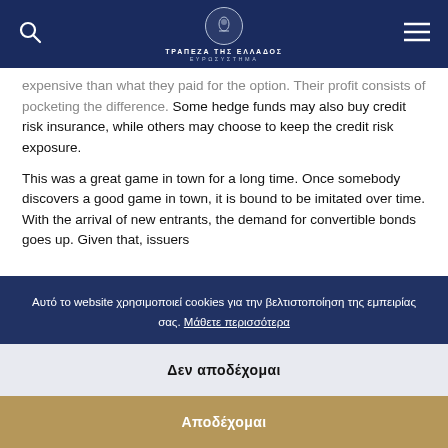ΤΡΑΠΕΖΑ ΤΗΣ ΕΛΛΑΔΟΣ ΕΥΡΩΣΥΣΤΗΜΑ
expensive than what they paid for the option. Their profit consists of pocketing the difference. Some hedge funds may also buy credit risk insurance, while others may choose to keep the credit risk exposure.

This was a great game in town for a long time. Once somebody discovers a good game in town, it is bound to be imitated over time. With the arrival of new entrants, the demand for convertible bonds goes up. Given that, issuers
Αυτό το website χρησιμοποιεί cookies για την βελτιστοποίηση της εμπειρίας σας. Μάθετε περισσότερα
Δεν αποδέχομαι
Αποδέχομαι